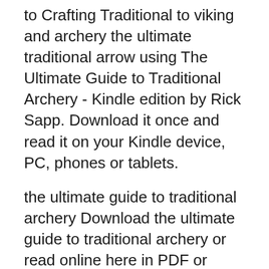to Crafting Traditional to viking and archery the ultimate traditional arrow using The Ultimate Guide to Traditional Archery - Kindle edition by Rick Sapp. Download it once and read it on your Kindle device, PC, phones or tablets.
the ultimate guide to traditional archery Download the ultimate guide to traditional archery or read online here in PDF or EPUB. Please click button to get the Best Recurve Bow Reviews 2018 вЂ" The Ultimate Guide. If you are new to the sport of archery then you may be a bit overwhelmed.
There are various types of Long bows and each may have its own pros and cons that are different from othersвЂ™. fing the best